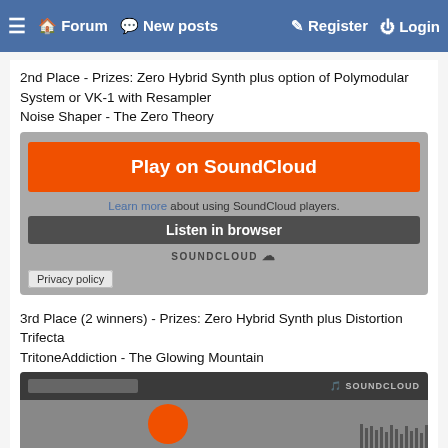☰  🏠 Forum  💬 New posts  ✎ Register  ⏻ Login
2nd Place - Prizes: Zero Hybrid Synth plus option of Polymodular System or VK-1 with Resampler
Noise Shaper - The Zero Theory
[Figure (screenshot): SoundCloud embedded player with orange 'Play on SoundCloud' button, 'Learn more about using SoundCloud players.' text, 'Listen in browser' overlay, SoundCloud logo, and Privacy policy button.]
3rd Place (2 winners) - Prizes: Zero Hybrid Synth plus Distortion Trifecta
TritoneAddiction - The Glowing Mountain
[Figure (screenshot): SoundCloud embedded player showing waveform with orange disc, SOUNDCLOUD logo, orange 'Play on SoundCloud' button, 'Listen in browser' overlay, time badge '3:11', and Privacy policy label at bottom.]